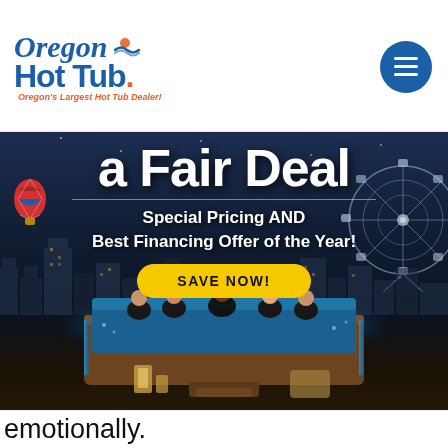[Figure (logo): Oregon Hot Tub logo with tagline 'Oregon's Largest Hot Tub Dealer!']
[Figure (screenshot): Navigation menu button (hamburger icon) in blue circle]
[Figure (photo): Hero banner image showing people in a hot tub on a rooftop with city skyline at night, a ferris wheel visible on the right, and a hot air balloon on the left]
a Fair Deal
Special Pricing AND Best Financing Offer of the Year!
SAVE NOW!
emotionally.